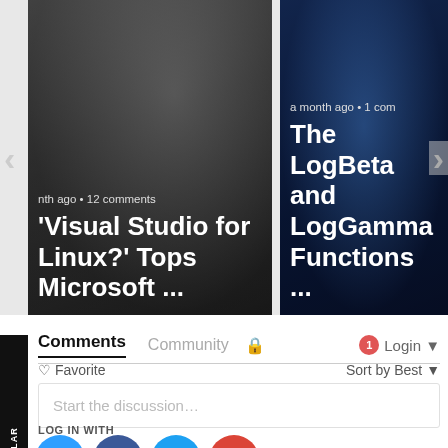[Figure (screenshot): Two article cards in a carousel. Left card: 'nth ago • 12 comments' / ''Visual Studio for Linux?' Tops Microsoft ...' on dark background. Right card: 'a month ago • 1 com' / 'The LogBeta and LogGamma Functions ...' on dark blue background. Navigation arrows on left and right edges.]
Comments   Community 🔒   1  Login ▾
♡ Favorite   Sort by Best ▾
Start the discussion…
LOG IN WITH
[Figure (infographic): Four social login icons in circles: Disqus (blue, D), Facebook (dark blue, f), Twitter (light blue, bird), Google (red, G)]
OR SIGN UP WITH DISQUS ?
Name